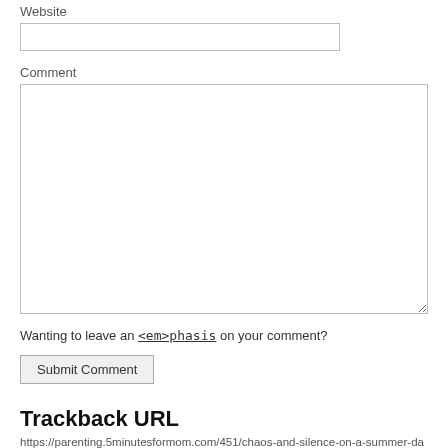Website
Comment
Wanting to leave an <em>phasis on your comment?
Submit Comment
Trackback URL
https://parenting.5minutesformom.com/451/chaos-and-silence-on-a-summer-day/trackback/